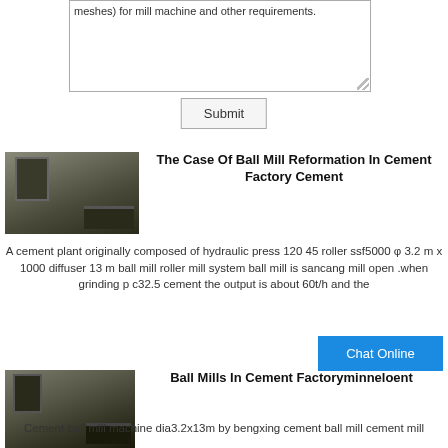meshes) for mill machine and other requirements.
Submit
[Figure (photo): Industrial cement plant machinery / conveyor equipment]
The Case Of Ball Mill Reformation In Cement Factory Cement
A cement plant originally composed of hydraulic press 120 45 roller ssf5000 φ 3.2 m x 1000 diffuser 13 m ball mill roller mill system ball mill is sancang mill open .when grinding p c32.5 cement the output is about 60t/h and the
Chat Online
[Figure (photo): Industrial ball mill or cement factory equipment]
Ball Mills In Cement Factoryminneloent
Cement ball mill machine dia3.2x13m by bengxing cement ball mill cement mill